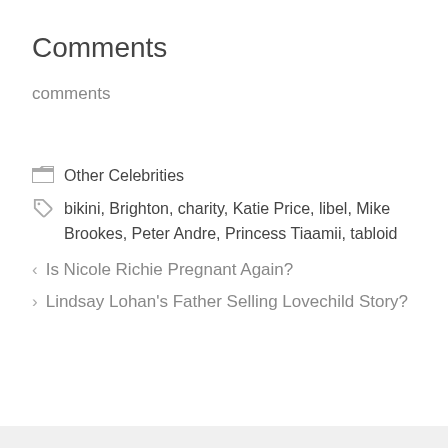Comments
comments
Other Celebrities
bikini, Brighton, charity, Katie Price, libel, Mike Brookes, Peter Andre, Princess Tiaamii, tabloid
Is Nicole Richie Pregnant Again?
Lindsay Lohan's Father Selling Lovechild Story?